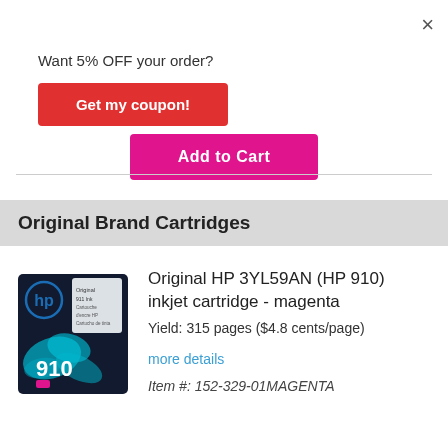×
Want 5% OFF your order?
Get my coupon!
Add to Cart
Original Brand Cartridges
[Figure (photo): HP 910 magenta inkjet cartridge box with cyan butterfly design]
Original HP 3YL59AN (HP 910) inkjet cartridge - magenta
Yield: 315 pages ($4.8 cents/page)
more details
Item #: 152-329-01MAGENTA